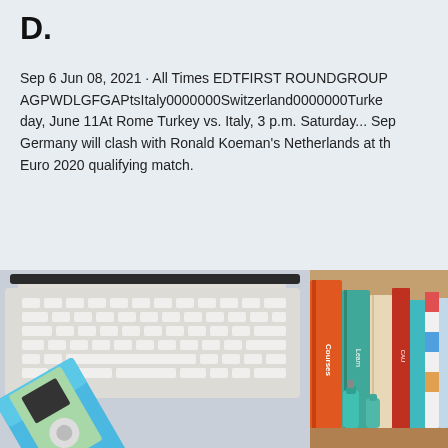D.
Sep 6 Jun 08, 2021 · All Times EDTFIRST ROUNDGROUP AGPWDLGFGAPtsItaly0000000Switzerland0000000Turkey day, June 11At Rome Turkey vs. Italy, 3 p.m. Saturday... Sep Germany will clash with Ronald Koeman's Netherlands at th Euro 2020 qualifying match.
[Figure (photo): Photo of a white Apple laptop with an iPod mini box placed on it, showing the keyboard and the iPod mini packaging with blue and green colors.]
[Figure (photo): Photo of colorful books lined up on a shelf with orange, teal, and multicolored spines, placed on a wooden surface.]